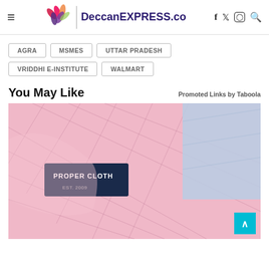Deccan EXPRESS.co
AGRA
MSMES
UTTAR PRADESH
VRIDDHI E-INSTITUTE
WALMART
You May Like
Promoted Links by Taboola
[Figure (photo): Close-up of pink plaid dress shirts with a dark navy label reading PROPER CLOTH EST. 2009, alongside a blue shirt in the background]